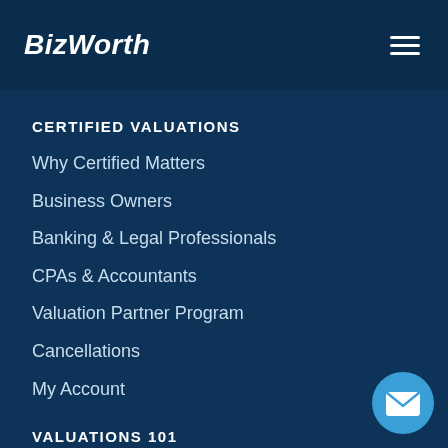BizWorth
CERTIFIED VALUATIONS
Why Certified Matters
Business Owners
Banking & Legal Professionals
CPAs & Accountants
Valuation Partner Program
Cancellations
My Account
VALUATIONS 101
About Valuations